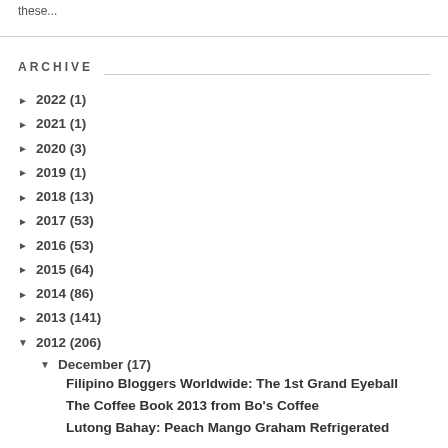these...
ARCHIVE
► 2022 (1)
► 2021 (1)
► 2020 (3)
► 2019 (1)
► 2018 (13)
► 2017 (53)
► 2016 (53)
► 2015 (64)
► 2014 (86)
► 2013 (141)
▼ 2012 (206)
▼ December (17)
Filipino Bloggers Worldwide: The 1st Grand Eyeball
The Coffee Book 2013 from Bo's Coffee
Lutong Bahay: Peach Mango Graham Refrigerated Ca...